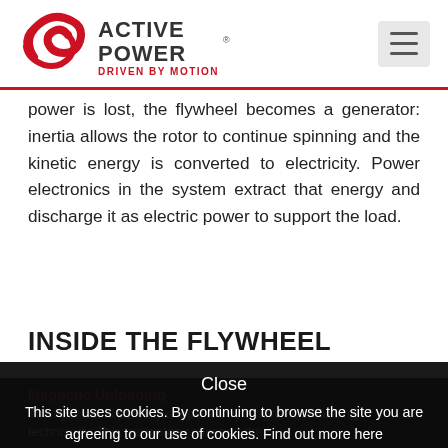[Figure (logo): Active Power logo with red swirl graphic and tagline DRIVEN BY MOTION]
power is lost, the flywheel becomes a generator: inertia allows the rotor to continue spinning and the kinetic energy is converted to electricity. Power electronics in the system extract that energy and discharge it as electric power to support the load.
INSIDE THE FLYWHEEL
Close
This site uses cookies. By continuing to browse the site you are agreeing to our use of cookies. Find out more here
Magnetic Unloading
The flywheel is partially supported by magnetic unloading technology. This technology converts the